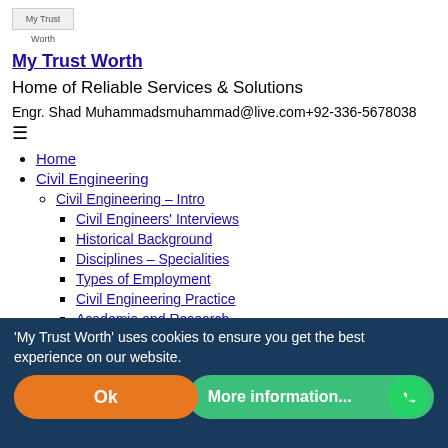[Figure (logo): My Trust Worth website logo image placeholder]
My Trust Worth
Home of Reliable Services & Solutions
Engr. Shad Muhammadsmuhammad@live.com+92-336-5678038
≡
Home
Civil Engineering
Civil Engineering – Intro
Civil Engineers' Interviews
Historical Background
Disciplines – Specialities
Types of Employment
Civil Engineering Practice
Academia and Research
'My Trust Worth' uses cookies to ensure you get the best experience on our website.
Ok | More information...